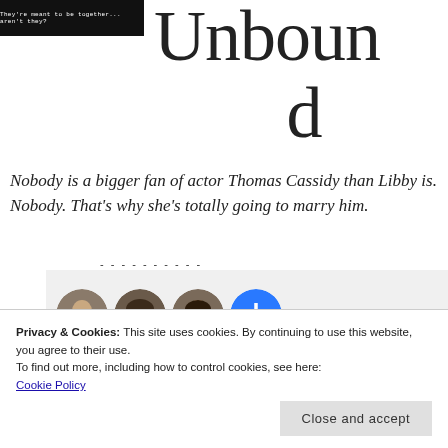[Figure (screenshot): Book cover thumbnail with dark background and white text: They're meant to be together... aren't they?]
Unbound
Nobody is a bigger fan of actor Thomas Cassidy than Libby is. Nobody. That's why she's totally going to marry him.
[Figure (screenshot): Row of user avatar circles (three faces and a blue plus button) on a light grey background, with dashed separator above]
Privacy & Cookies: This site uses cookies. By continuing to use this website, you agree to their use.
To find out more, including how to control cookies, see here: Cookie Policy
Close and accept